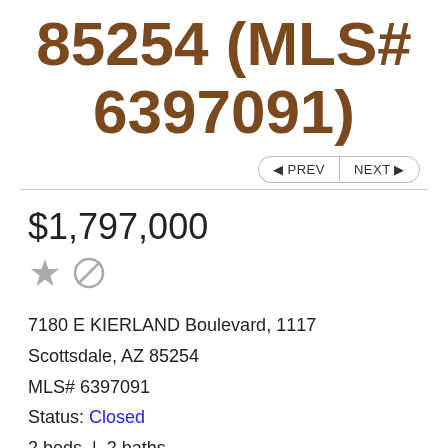85254 (MLS# 6397091)
◄ PREV   NEXT ►
$1,797,000
7180 E KIERLAND Boulevard, 1117
Scottsdale, AZ 85254
MLS# 6397091
Status: Closed
2 beds  |  2 baths
PRINT   VIDEOS (1)